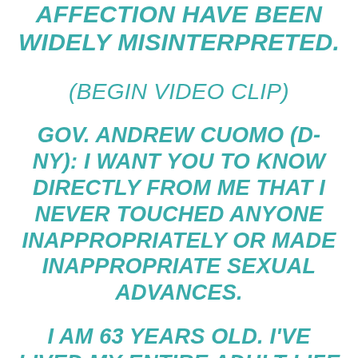AFFECTION HAVE BEEN WIDELY MISINTERPRETED.
(BEGIN VIDEO CLIP)
GOV. ANDREW CUOMO (D-NY): I WANT YOU TO KNOW DIRECTLY FROM ME THAT I NEVER TOUCHED ANYONE INAPPROPRIATELY OR MADE INAPPROPRIATE SEXUAL ADVANCES.
I AM 63 YEARS OLD. I'VE LIVED MY ENTIRE ADULT LIFE IN PUBLIC VIEW. THAT IS JUST NOT WHO I AM, AND THAT'S NOT WHO I HAVE EVER BEEN.